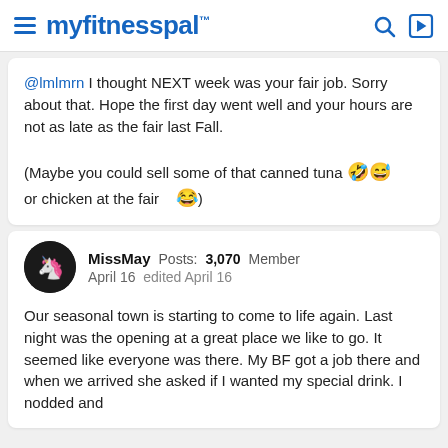myfitnesspal
@lmlmrn I thought NEXT week was your fair job. Sorry about that. Hope the first day went well and your hours are not as late as the fair last Fall.

(Maybe you could sell some of that canned tuna or chicken at the fair 🤣😅😂)
MissMay  Posts: 3,070  Member
April 16  edited April 16
Our seasonal town is starting to come to life again. Last night was the opening at a great place we like to go. It seemed like everyone was there. My BF got a job there and when we arrived she asked if I wanted my special drink. I nodded and